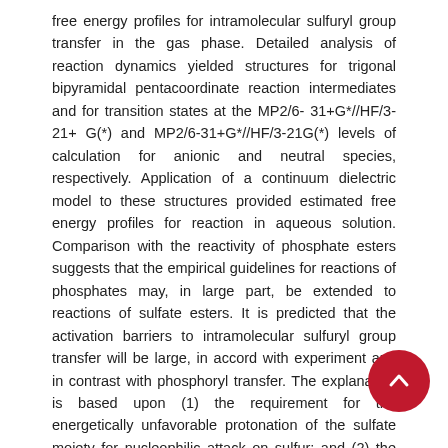free energy profiles for intramolecular sulfuryl group transfer in the gas phase. Detailed analysis of reaction dynamics yielded structures for trigonal bipyramidal pentacoordinate reaction intermediates and for transition states at the MP2/6-31+G*//HF/3-21+ G(*) and MP2/6-31+G*//HF/3-21G(*) levels of calculation for anionic and neutral species, respectively. Application of a continuum dielectric model to these structures provided estimated free energy profiles for reaction in aqueous solution. Comparison with the reactivity of phosphate esters suggests that the empirical guidelines for reactions of phosphates may, in large part, be extended to reactions of sulfate esters. It is predicted that the activation barriers to intramolecular sulfuryl group transfer will be large, in accord with experiment and in contrast with phosphoryl transfer. The explanation is based upon (1) the requirement for the energetically unfavorable protonation of the sulfate moiety for nucleophilic attack on sulfur; and (2) the relatively higher energy of the pentacoordinate relative to the tetracoordinate state for S over P species. However, Berry pseudorotation is facile and does not present a barrier to reaction. The calculations suggest that nucleophilic substitution of alkoxide on the protonated sulfate moiety has a low activation barrier and may occur with inversion or retention of stereochemistry at sulfur.